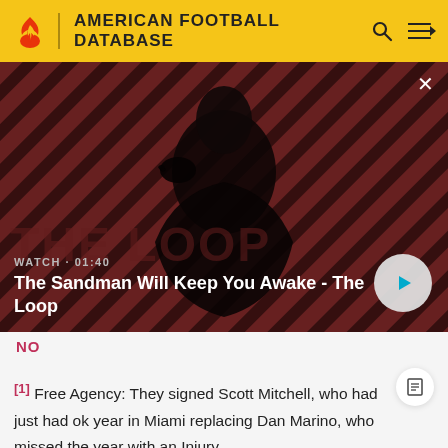AMERICAN FOOTBALL DATABASE
[Figure (screenshot): Video thumbnail banner showing a dark figure with a raven on shoulder against a red diagonal stripe background. Title text: 'The Sandman Will Keep You Awake - The Loop'. Watch · 01:40 label visible. Play button on right side. Close (x) button top right.]
NO
[1] Free Agency: They signed Scott Mitchell, who had just had ok year in Miami replacing Dan Marino, who missed the year with an Injury